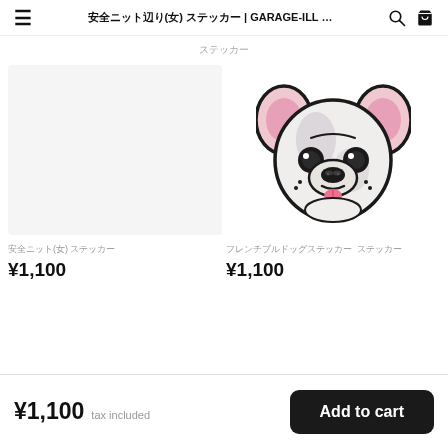≡  ▨▨▨▨▨▨(▨) ▨▨▨▨▨▨ | GARAGE-ILL ...  🔍  🛒
▨▨▨▨▨▨
[Figure (illustration): Cartoon French Bulldog illustration with pink ears and white/grey body, peeking upward with tongue out, black outline style]
▨▨▨▨(▨) ▨▨▨▨▨▨
¥1,100
▨▨▨▨▨▨▨▨▨▨▨▨  ▨▨▨▨▨▨
¥1,100
¥1,100  tax included    Add to cart